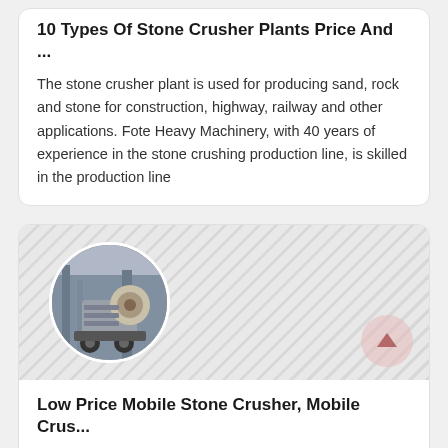10 Types Of Stone Crusher Plants Price And ...
The stone crusher plant is used for producing sand, rock and stone for construction, highway, railway and other applications. Fote Heavy Machinery, with 40 years of experience in the stone crushing production line, is skilled in the production line
[Figure (photo): Circular thumbnail image of a mobile stone crusher machine on a diagonal stripe background]
Low Price Mobile Stone Crusher, Mobile Crus...
Last Login Date: Dec 15, 2021 Business Type: Manufacturer/Factory, Trading Company Main